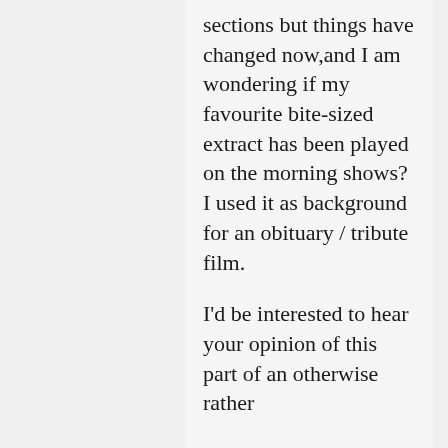sections but things have changed now,and I am wondering if my favourite bite-sized extract has been played on the morning shows? I used it as background for an obituary / tribute film.
I'd be interested to hear your opinion of this part of an otherwise rather forbidding work.